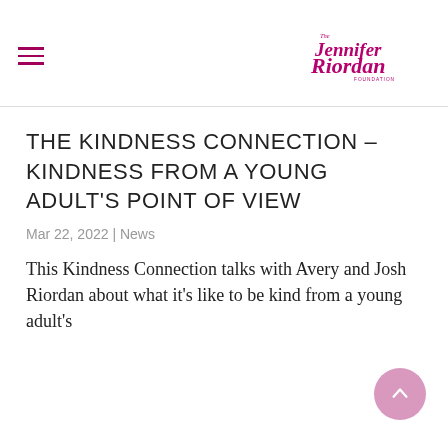The Jennifer Riordan Foundation
THE KINDNESS CONNECTION – KINDNESS FROM A YOUNG ADULT'S POINT OF VIEW
Mar 22, 2022 | News
This Kindness Connection talks with Avery and Josh Riordan about what it's like to be kind from a young adult's